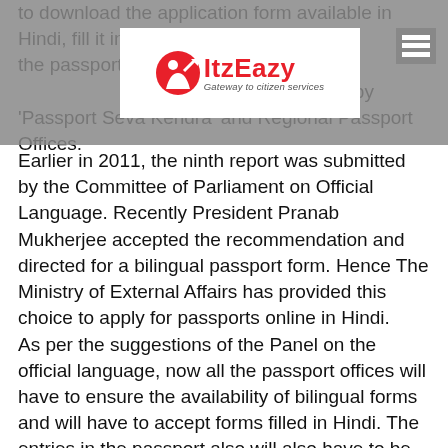to download the application form available in Hindi, fill it in and upload for the passport. The printout of the form will not be accepted by 'Passport Seva Kendra' and Regional Passport Offices.
[Figure (logo): ItzEazy logo - Gateway to citizen services, with red icon and text on white background, overlaid on grey bar with hamburger menu]
Earlier in 2011, the ninth report was submitted by the Committee of Parliament on Official Language. Recently President Pranab Mukherjee accepted the recommendation and directed for a bilingual passport form. Hence The Ministry of External Affairs has provided this choice to apply for passports online in Hindi.
As per the suggestions of the Panel on the official language, now all the passport offices will have to ensure the availability of bilingual forms and will have to accept forms filled in Hindi. The entries in the passport also will also have to be made in Hindi in all issued passports, also information regarding passport and visa should be made available in Hindi on the official website of the ministry. These recommendations have been accepted by the president recently, as per an official order.
The recommendation for upgrading the facilities for